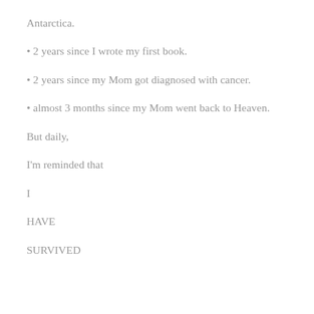Antarctica.
• 2 years since I wrote my first book.
• 2 years since my Mom got diagnosed with cancer.
• almost 3 months since my Mom went back to Heaven.
But daily,
I'm reminded that
I
HAVE
SURVIVED